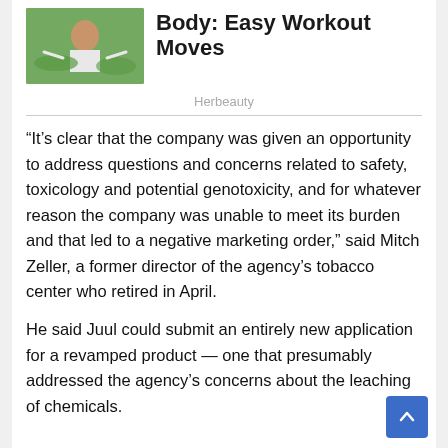[Figure (photo): Woman sitting outdoors with arms outstretched, green trees in background]
Body: Easy Workout Moves
Herbeauty
“It’s clear that the company was given an opportunity to address questions and concerns related to safety, toxicology and potential genotoxicity, and for whatever reason the company was unable to meet its burden and that led to a negative marketing order,” said Mitch Zeller, a former director of the agency’s tobacco center who retired in April.
He said Juul could submit an entirely new application for a revamped product — one that presumably addressed the agency’s concerns about the leaching of chemicals.